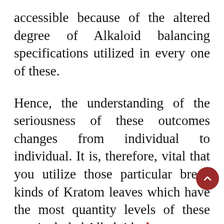accessible because of the altered degree of Alkaloid balancing specifications utilized in every one of these.
Hence, the understanding of the seriousness of these outcomes changes from individual to individual. It is, therefore, vital that you utilize those particular breed kinds of Kratom leaves which have the most quantity levels of these two included Alkaloids. best kratom Though Kratom does possess quite a few dangerous side effects, you can prevent them